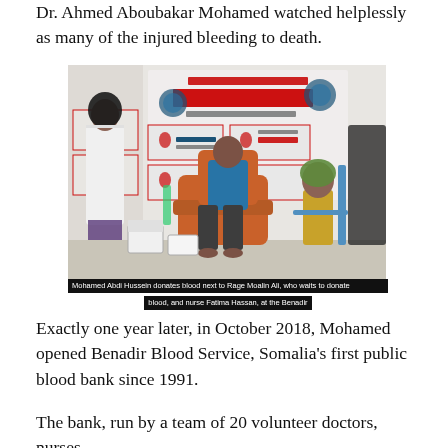Dr. Ahmed Aboubakar Mohamed watched helplessly as many of the injured bleeding to death.
[Figure (photo): A man in a blue shirt donates blood in a reclining chair at the Benadir Blood Service clinic. A nurse in a white coat stands to the left. Another person waits nearby. The backdrop displays 'Benadir Blood Service' signage in red and blue.]
Mohamed Abdi Hussein donates blood next to Rage Moalin Ali, who waits to donate blood, and nurse Fatima Hassan, at the Benadir
Exactly one year later, in October 2018, Mohamed opened Benadir Blood Service, Somalia's first public blood bank since 1991.
The bank, run by a team of 20 volunteer doctors, nurses,